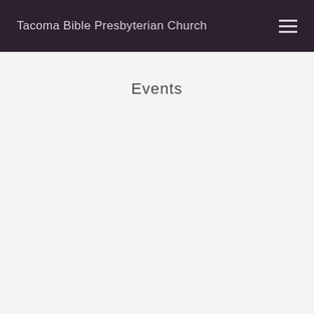Tacoma Bible Presbyterian Church
Events